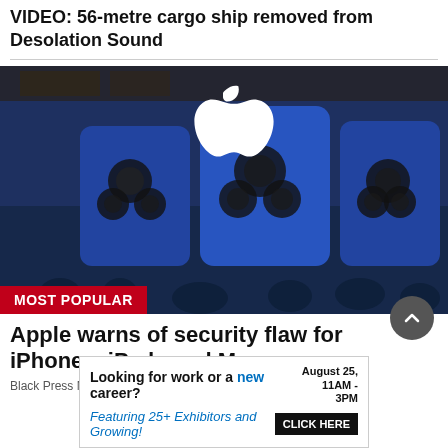VIDEO: 56-metre cargo ship removed from Desolation Sound
[Figure (photo): Apple Store window with large Apple logo and iPhones displayed, people reflected in glass]
MOST POPULAR
Apple warns of security flaw for iPhones, iPads and Macs
Black Press Media
[Figure (other): Advertisement: Looking for work or a new career? August 25, 11AM - 3PM. Featuring 25+ Exhibitors and Growing! CLICK HERE]